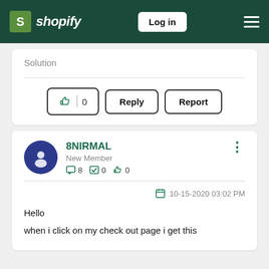Shopify — Log in
Solution
[Figure (screenshot): Like button with count 0, Reply button, and Report button]
8NIRMAL
New Member
8  0  0
10-15-2020 03:02 PM
Hello
when i click on my check out page i get this